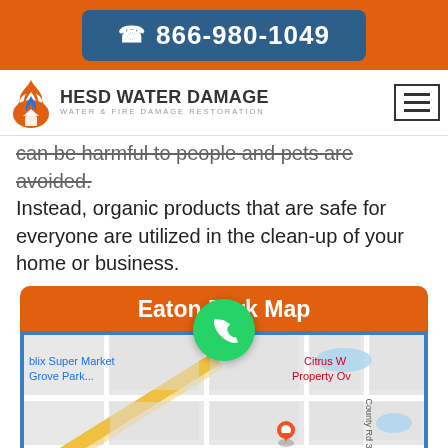866-980-1049
[Figure (logo): HESD Water Damage logo with flame icon and text 'WATER & FIRE DAMAGE RESTORATION']
can be harmful to people and pets are avoided. Instead, organic products that are safe for everyone are utilized in the clean-up of your home or business.
Eaton Park Map
[Figure (map): Google Maps screenshot showing Eaton Park area with landmarks: Publix Super Market Grove Park, West Caribbean Cuban restaurant, Wawa-Lakeland, Citrus W... Property Ow... labels, County Rd 33 A street label, and a green phone/WhatsApp floating button overlay]